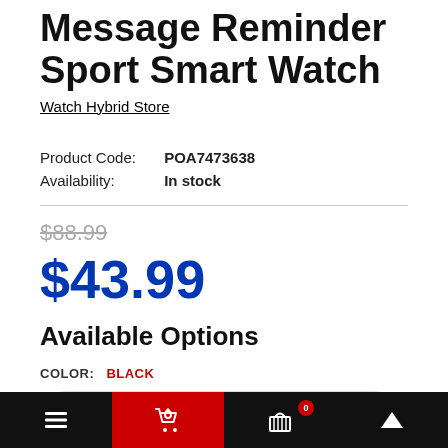Message Reminder Sport Smart Watch
Watch Hybrid Store
Product Code:  POA7473638
Availability:  In stock
$88.99
$43.99
Available Options
COLOR:  BLACK
Black